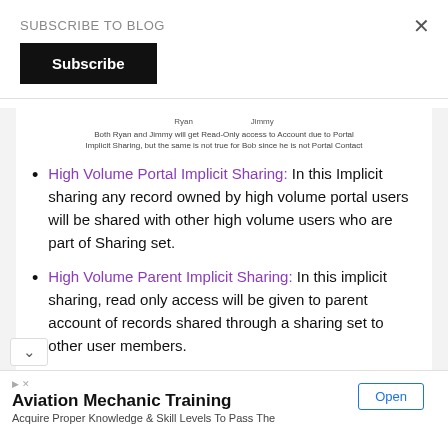SUBSCRIBE TO BLOG
Subscribe
[Figure (schematic): Diagram showing Ryan and Jimmy nodes with a caption: Both Ryan and Jimmy will get Read-Only access to Account due to Portal Implicit Sharing, but the same is not true for Bob since he is not Portal Contact]
High Volume Portal Implicit Sharing: In this Implicit sharing any record owned by high volume portal users will be shared with other high volume users who are part of Sharing set.
High Volume Parent Implicit Sharing: In this implicit sharing, read only access will be given to parent account of records shared through a sharing set to other user members.
Aviation Mechanic Training
Acquire Proper Knowledge & Skill Levels To Pass The